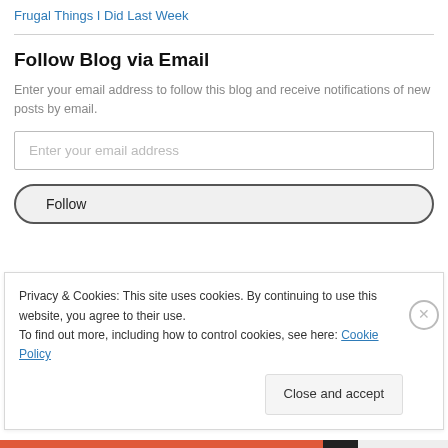Frugal Things I Did Last Week
Follow Blog via Email
Enter your email address to follow this blog and receive notifications of new posts by email.
Enter your email address
Follow
Privacy & Cookies: This site uses cookies. By continuing to use this website, you agree to their use.
To find out more, including how to control cookies, see here: Cookie Policy
Close and accept